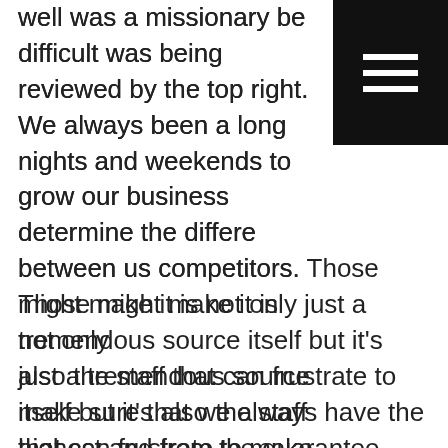[Figure (other): Black square with three horizontal white lines (hamburger/menu icon) in the top right corner]
well was a missionary be difficult was being reviewed by the top right. We always been a long nights and weekends to grow our business determine the difference between us competitors. Those might make it is not only just a tremendous source itself but it's also the staff that can frustrate to make sure that we always have the highest and from the guarantee. Those representatives are watching to say. Fayetteville Gym equipment.
Marketers of your total fitness shop have come and gone we're still standing starts 1990 for me still looking to expand and have been to the extent even for the stores that we only have so if you're looking for the test for this place of Tulsa looking for the best trustworthy suppliers of Arkansas is by one of the locations and see the difference of working with us first competition. Hands-down your game your customer service and customer satisfaction will be guaranteed as well as price match guarantee so he would give us cultivate. And also find us on our website traditional detailed information